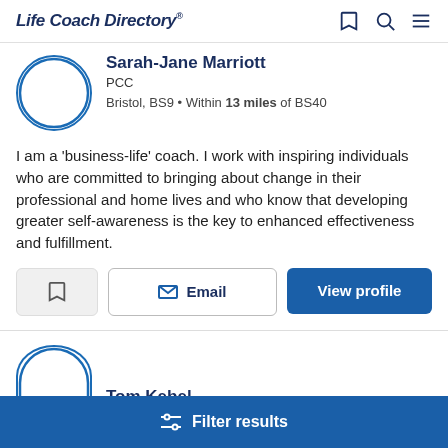Life Coach Directory®
Sarah-Jane Marriott
PCC
Bristol, BS9 • Within 13 miles of BS40
I am a 'business-life' coach. I work with inspiring individuals who are committed to bringing about change in their professional and home lives and who know that developing greater self-awareness is the key to enhanced effectiveness and fulfillment.
Email | View profile
Tom Kebel...
Filter results